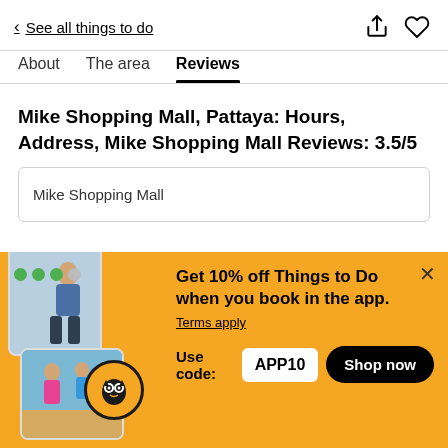< See all things to do
Reviews
Mike Shopping Mall, Pattaya: Hours, Address, Mike Shopping Mall Reviews: 3.5/5
Mike Shopping Mall
[Figure (infographic): Promotional banner: Get 10% off Things to Do when you book in the app. Use code: APP10. Shop now. Terms apply. Yellow background with app screenshots and TripAdvisor owl logo.]